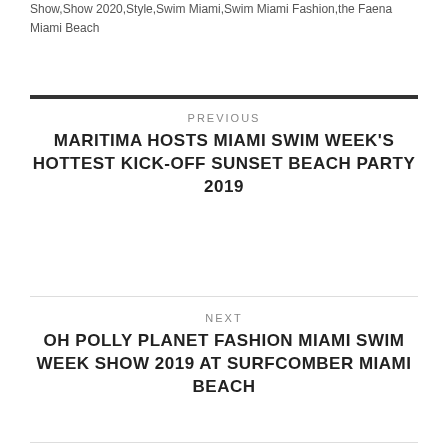Show,Show 2020,Style,Swim Miami,Swim Miami Fashion,the Faena Miami Beach
PREVIOUS
MARITIMA HOSTS MIAMI SWIM WEEK'S HOTTEST KICK-OFF SUNSET BEACH PARTY 2019
NEXT
OH POLLY PLANET FASHION MIAMI SWIM WEEK SHOW 2019 AT SURFCOMBER MIAMI BEACH